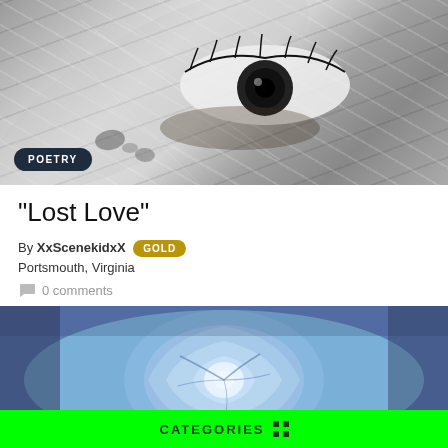[Figure (photo): Black and white close-up photo of an eye with leaf textures in the background, with a 'POETRY' badge overlay]
"Lost Love"
By XxScenekidxX GOLD
Portsmouth, Virginia
0 comments
[Figure (illustration): Blue rose illustration with swirling purple/blue petals on a dark background]
CATEGORIES